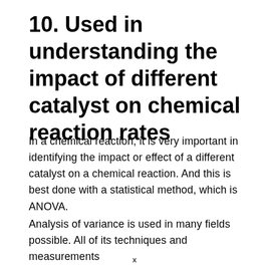10. Used in understanding the impact of different catalyst on chemical reaction rates
In a chemical reaction, it is very important in identifying the impact or effect of a different catalyst on a chemical reaction. And this is best done with a statistical method, which is ANOVA.
Analysis of variance is used in many fields possible. All of its techniques and measurements
x